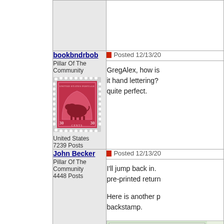bookbndrbob
Pillar Of The Community
[Figure (photo): Red/carmine US 30 cents Buffalo/Bison stamp with perforated edges, showing bison in center arch design with '30' on each side and 'CENTS' at bottom]
United States
7239 Posts
Posted 12/13/20
GregAlex, how is it hand lettering? quite perfect.
John Becker
Pillar Of The Community
4448 Posts
Posted 12/13/20
I'll jump back in. pre-printed return
Here is another p backstamp.
[Figure (photo): Partial view of a postal backstamp or cover, light colored envelope visible at bottom right]